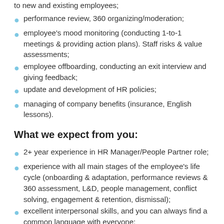performance review, 360 organizing/moderation;
employee's mood monitoring (conducting 1-to-1 meetings & providing action plans). Staff risks & value assessments;
employee offboarding, conducting an exit interview and giving feedback;
update and development of HR policies;
managing of company benefits (insurance, English lessons).
What we expect from you:
2+ year experience in HR Manager/People Partner role;
experience with all main stages of the employee's life cycle (onboarding & adaptation, performance reviews & 360 assessment, L&D, people management, conflict solving, engagement & retention, dismissal);
excellent interpersonal skills, and you can always find a common language with everyone;
strong communication and negotiation skills;
flexible, ready for dynamics and changes.